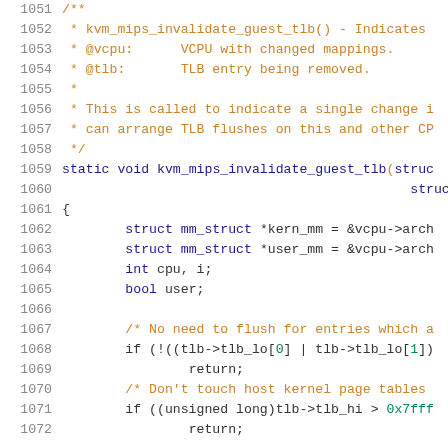Source code listing lines 1051-1072 of kvm_mips_invalidate_guest_tlb function implementation in C